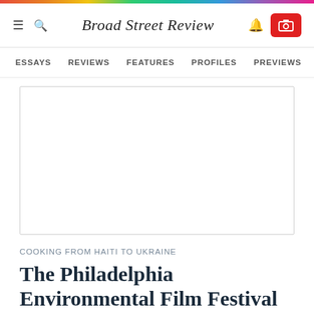Broad Street Review
ESSAYS  REVIEWS  FEATURES  PROFILES  PREVIEWS  PODCA
[Figure (photo): Large white/blank image placeholder area with border]
COOKING FROM HAITI TO UKRAINE
The Philadelphia Environmental Film Festival presents We Feed